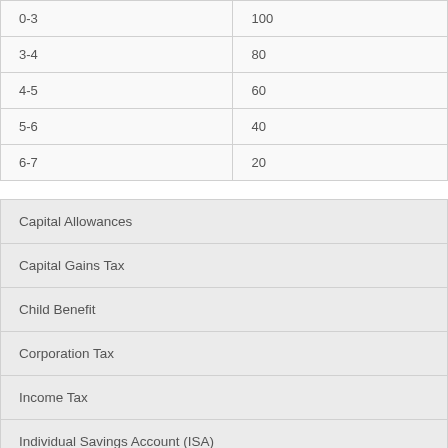|  |  |
| --- | --- |
| 0-3 | 100 |
| 3-4 | 80 |
| 4-5 | 60 |
| 5-6 | 40 |
| 6-7 | 20 |
Capital Allowances
Capital Gains Tax
Child Benefit
Corporation Tax
Income Tax
Individual Savings Account (ISA)
Inheritance Tax